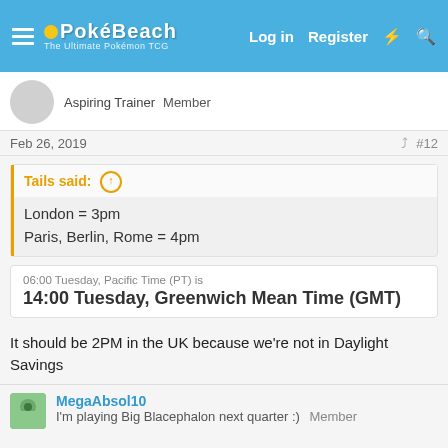PokéBeach | Log in | Register
Aspiring Trainer   Member
Feb 26, 2019  #12
Tails said: ↑
London = 3pm
Paris, Berlin, Rome = 4pm
06:00 Tuesday, Pacific Time (PT) is
14:00 Tuesday, Greenwich Mean Time (GMT)
It should be 2PM in the UK because we're not in Daylight Savings
MegaAbsol10
I'm playing Big Blacephalon next quarter :)   Member